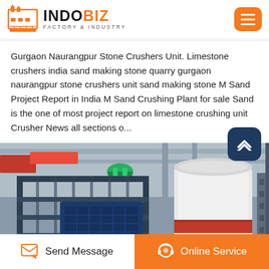INDOBIZ FACTORY & INDUSTRY
Gurgaon Naurangpur Stone Crushers Unit. Limestone crushers india sand making stone quarry gurgaon naurangpur stone crushers unit sand making stone M Sand Project Report in India M Sand Crushing Plant for sale Sand is the one of most project report on limestone crushing unit Crusher News all sections o...
[Figure (photo): Industrial stone crushing machinery in a factory setting, showing large metal structures, conveyor frames, and a white cylindrical crusher unit with a red stripe.]
Send Message | Online Service